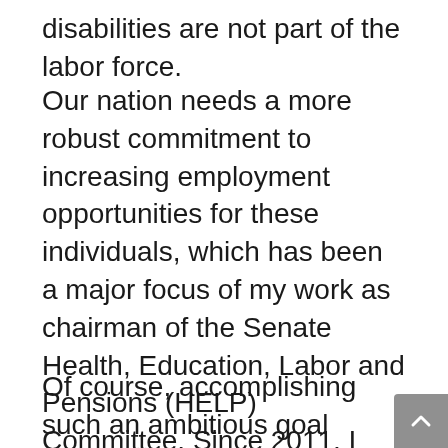disabilities are not part of the labor force.
Our nation needs a more robust commitment to increasing employment opportunities for these individuals, which has been a major focus of my work as chairman of the Senate Health, Education, Labor and Pensions (HELP) Committee. Since 2011, I have been working with the US Chamber of Commerce, disability advocates and the business community to prioritize this issue. Our shared goal is to increase the employment by a million people of individuals with disabilities by 2015.
Of course, accomplishing such an ambitious goal requires a multifaceted approach. Recently, the US Department of Labor issued a final rule